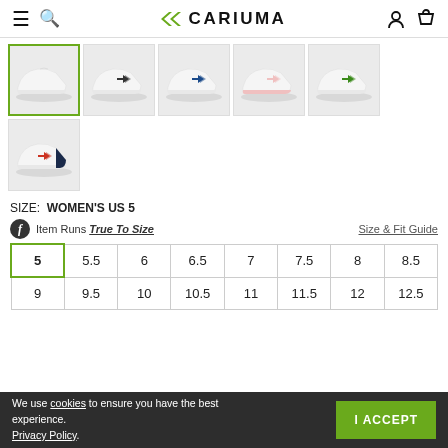CARIUMA
[Figure (photo): Grid of 6 sneaker thumbnail images showing Cariuma shoes in different colorways. First (selected, green border): white sneaker. Second: white with black arrow. Third: white with blue arrow. Fourth: white with pink accent. Fifth: white with green arrow. Sixth (bottom row): white with red arrow and navy heel.]
SIZE: WOMEN'S US 5
Item Runs True To Size
Size & Fit Guide
| 5 | 5.5 | 6 | 6.5 | 7 | 7.5 | 8 | 8.5 |
| 9 | 9.5 | 10 | 10.5 | 11 | 11.5 | 12 | 12.5 |
We use cookies to ensure you have the best experience. Privacy Policy.